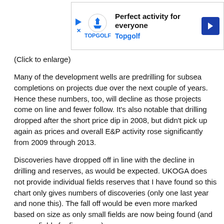[Figure (other): Advertisement banner for Topgolf with logo, play icon, close icon, text 'Perfect activity for everyone', Topgolf branding, and a blue navigation arrow icon]
(Click to enlarge)
Many of the development wells are predrilling for subsea completions on projects due over the next couple of years. Hence these numbers, too, will decline as those projects come on line and fewer follow. It's also notable that drilling dropped after the short price dip in 2008, but didn't pick up again as prices and overall E&P activity rose significantly from 2009 through 2013.
Discoveries have dropped off in line with the decline in drilling and reserves, as would be expected. UKOGA does not provide individual fields reserves that I have found so this chart only gives numbers of discoveries (only one last year and none this). The fall off would be even more marked based on size as only small fields are now being found (and no gas fields for five years).